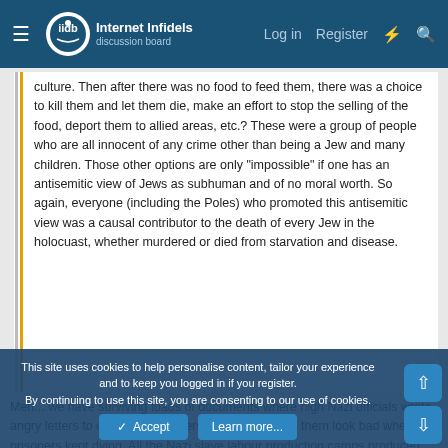Internet Infidels — Log in  Register
culture. Then after there was no food to feed them, there was a choice to kill them and let them die, make an effort to stop the selling of the food, deport them to allied areas, etc.? These were a group of people who are all innocent of any crime other than being a Jew and many children. Those other options are only "impossible" if one has an antisemitic view of Jews as subhuman and of no moral worth. So again, everyone (including the Poles) who promoted this antisemitic view was a causal contributor to the death of every Jew in the holocuast, whether murdered or died from starvation and disease.
Meh... we have surviving loads of documents where high Nazi officials wrote angry letters to camp commanders because it made them look bad when the prisoners kept dying. All the Nazi slave labour production camps produced much worse than both projected, but also facilities with free labour. This was a major
This site uses cookies to help personalise content, tailor your experience and to keep you logged in if you register.
By continuing to use this site, you are consenting to our use of cookies.